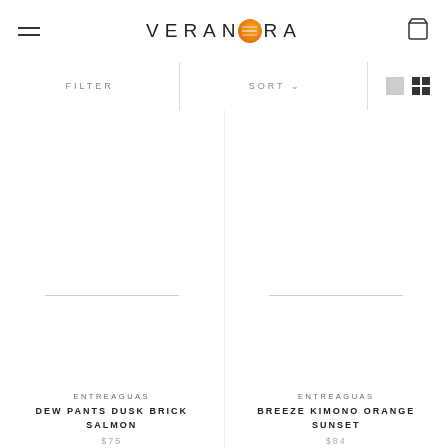VERANORA
FILTER
SORT
ENTREAGUAS DEW PANTS DUSK BRICK SALMON $75
ENTREAGUAS BREEZE KIMONO ORANGE SUNSET $84